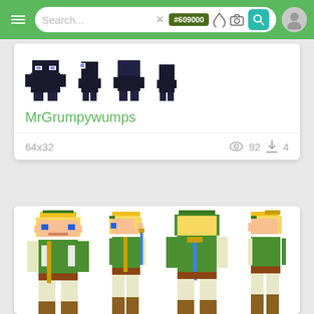[Figure (screenshot): Mobile app navigation bar with hamburger menu, search box containing 'Search...' placeholder text and an X icon, a green color badge showing '#609000', a water drop icon, a camera icon, a teal search button, and a user avatar icon on a green background.]
[Figure (screenshot): White card showing Minecraft-style dark/black pixel art character sprites (4 views) above the username MrGrumpywumps, with metadata showing 64x32 dimensions, 92 views, and 4 downloads.]
MrGrumpywumps
64x32   92   4
[Figure (screenshot): White card showing Minecraft-style pixel art Link character sprites from Legend of Zelda in 4 views — front, side, back, and another side — wearing green tunic with blonde hair and holding a sword/shield.]